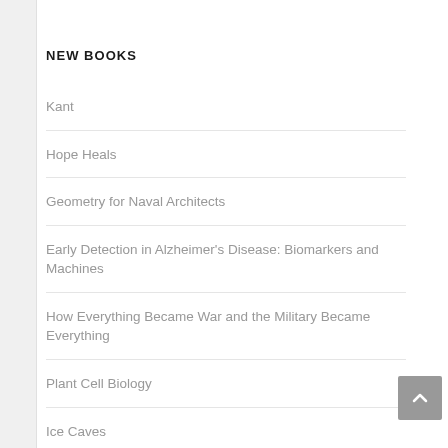NEW BOOKS
Kant
Hope Heals
Geometry for Naval Architects
Early Detection in Alzheimer's Disease: Biomarkers and Machines
How Everything Became War and the Military Became Everything
Plant Cell Biology
Ice Caves
I Aint Gonna Paint No More
Cancer Genomics